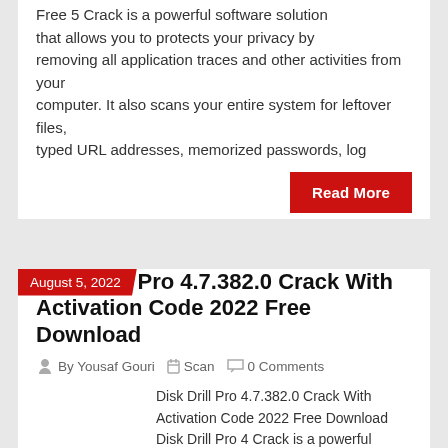Free 5 Crack is a powerful software solution that allows you to protects your privacy by removing all application traces and other activities from your computer. It also scans your entire system for leftover files, typed URL addresses, memorized passwords, log
Read More
August 5, 2022
Disk Drill Pro 4.7.382.0 Crack With Activation Code 2022 Free Download
By Yousaf Gouri   Scan   0 Comments
Disk Drill Pro 4.7.382.0 Crack With Activation Code 2022 Free Download Disk Drill Pro 4 Crack is a powerful software that allows you to recover all of your data that has gone